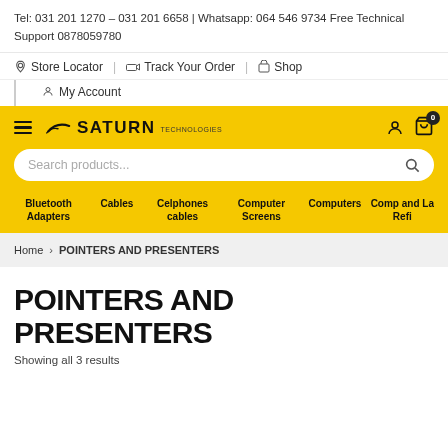Tel: 031 201 1270 – 031 201 6658 | Whatsapp: 064 546 9734 Free Technical Support 0878059780
Store Locator | Track Your Order | Shop
My Account
[Figure (screenshot): Saturn Electronics store website header with yellow navigation bar, search box, and category menu including Bluetooth Adapters, Cables, Celphones cables, Computer Screens, Computers, Comp and La Refi]
Home > POINTERS AND PRESENTERS
POINTERS AND PRESENTERS
Showing all 3 results